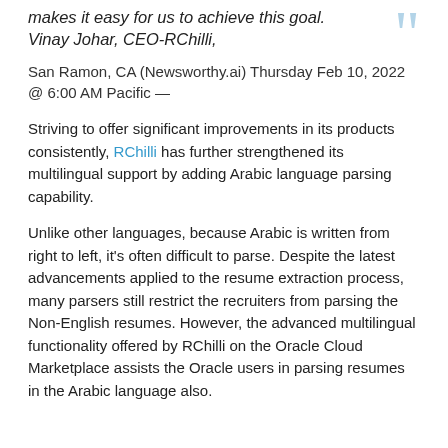Vinay Johar, CEO-RChilli,
San Ramon, CA (Newsworthy.ai) Thursday Feb 10, 2022 @ 6:00 AM Pacific —
Striving to offer significant improvements in its products consistently, RChilli has further strengthened its multilingual support by adding Arabic language parsing capability.
Unlike other languages, because Arabic is written from right to left, it's often difficult to parse. Despite the latest advancements applied to the resume extraction process, many parsers still restrict the recruiters from parsing the Non-English resumes. However, the advanced multilingual functionality offered by RChilli on the Oracle Cloud Marketplace assists the Oracle users in parsing resumes in the Arabic language also.